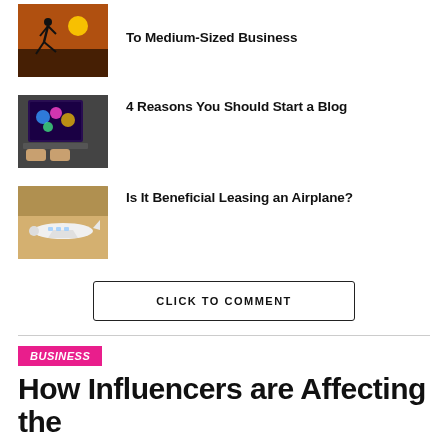[Figure (photo): Person jumping at sunset against orange sky]
To Medium-Sized Business
[Figure (photo): Person typing on a laptop with colorful screen in background]
4 Reasons You Should Start a Blog
[Figure (photo): Small white airplane in a hangar]
Is It Beneficial Leasing an Airplane?
CLICK TO COMMENT
BUSINESS
How Influencers are Affecting the